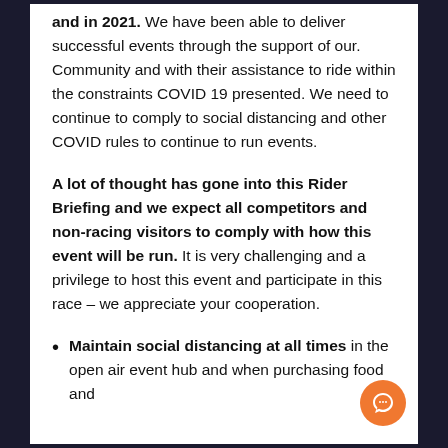and in 2021. We have been able to deliver successful events through the support of our. Community and with their assistance to ride within the constraints COVID 19 presented. We need to continue to comply to social distancing and other COVID rules to continue to run events.
A lot of thought has gone into this Rider Briefing and we expect all competitors and non-racing visitors to comply with how this event will be run. It is very challenging and a privilege to host this event and participate in this race – we appreciate your cooperation.
Maintain social distancing at all times in the open air event hub and when purchasing food and